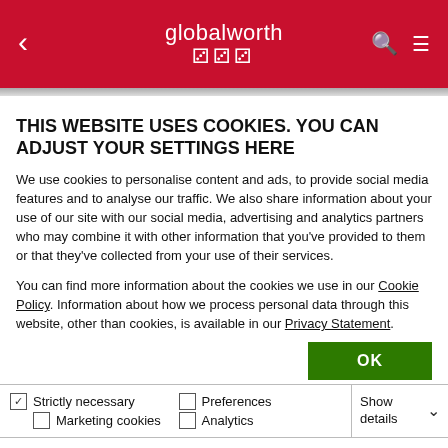globalworth
THIS WEBSITE USES COOKIES. YOU CAN ADJUST YOUR SETTINGS HERE
We use cookies to personalise content and ads, to provide social media features and to analyse our traffic. We also share information about your use of our site with our social media, advertising and analytics partners who may combine it with other information that you've provided to them or that they've collected from your use of their services.
You can find more information about the cookies we use in our Cookie Policy. Information about how we process personal data through this website, other than cookies, is available in our Privacy Statement.